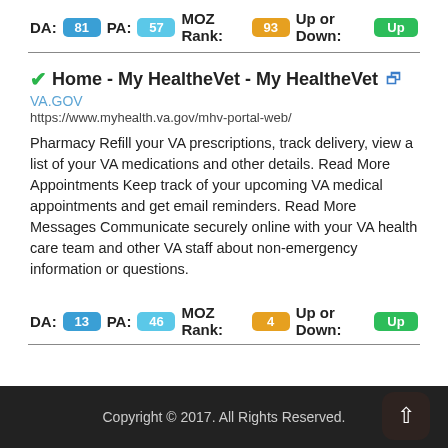DA: 81 PA: 57 MOZ Rank: 93 Up or Down: Up
Home - My HealtheVet - My HealtheVet
VA.GOV
https://www.myhealth.va.gov/mhv-portal-web/
Pharmacy Refill your VA prescriptions, track delivery, view a list of your VA medications and other details. Read More Appointments Keep track of your upcoming VA medical appointments and get email reminders. Read More Messages Communicate securely online with your VA health care team and other VA staff about non-emergency information or questions.
DA: 13 PA: 46 MOZ Rank: 4 Up or Down: Up
Copyright © 2017. All Rights Reserved.